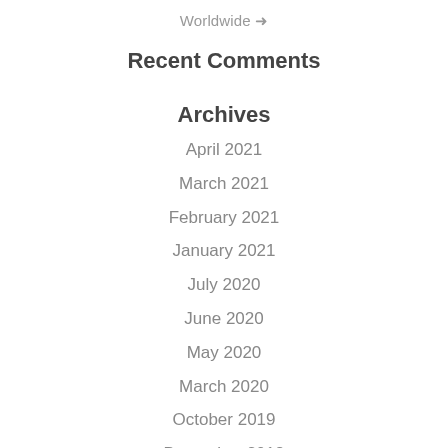Worldwide →
Recent Comments
Archives
April 2021
March 2021
February 2021
January 2021
July 2020
June 2020
May 2020
March 2020
October 2019
December 2018
June 2018